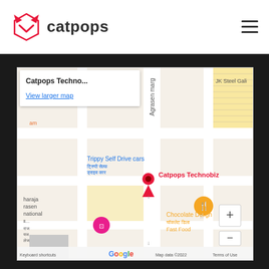catpops
[Figure (map): Google Maps screenshot showing location of Catpops Technobiz near Agrasen Marg. Map shows nearby landmarks including Trippy Self Drive cars, Chocolate Deligh, JK Steel Gali, and a hotel icon. Red location pin marks Catpops Technobiz. Map includes zoom controls (+/-), Google logo, and footer text: Keyboard shortcuts | Map data ©2022 | Terms of Use. Info popup at top reads 'Catpops Techno... View larger map'.]